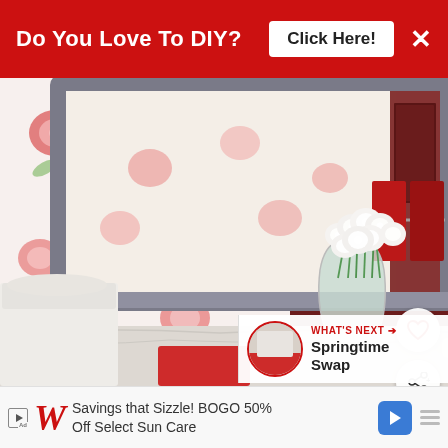[Figure (other): Red banner advertisement: 'Do You Love To DIY?' with 'Click Here!' button and X close button on red background]
[Figure (photo): Bathroom interior with floral shower curtain in pink/red roses, large gray-framed mirror reflecting the curtain, white roses in a glass vase on marble countertop, red towels on towel bar, white toilet, silver faucet, and a bar of soap on a dish. Heart and share action buttons overlay on right side. 'What's Next - Springtime Swap' overlay in bottom right.]
[Figure (other): Bottom advertisement bar: Walgreens logo with red W, text 'Savings that Sizzle! BOGO 50% Off Select Sun Care', blue navigation arrow icon, and menu dots icon]